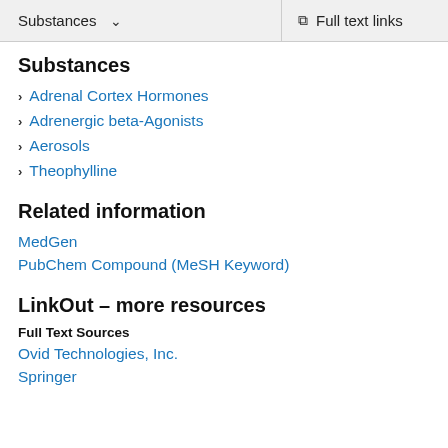Substances  ∨  Full text links
Substances
Adrenal Cortex Hormones
Adrenergic beta-Agonists
Aerosols
Theophylline
Related information
MedGen
PubChem Compound (MeSH Keyword)
LinkOut – more resources
Full Text Sources
Ovid Technologies, Inc.
Springer